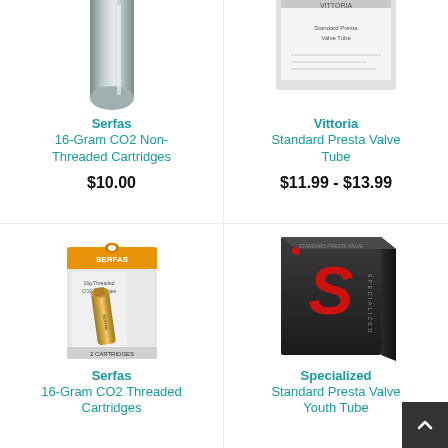[Figure (photo): Serfas 16-Gram CO2 Non-Threaded Cartridge, silver metallic, cropped at top]
Serfas
16-Gram CO2 Non-Threaded Cartridges
$10.00
[Figure (photo): Vittoria Standard Presta Valve Tube box, partially cropped at top]
Vittoria
Standard Presta Valve Tube
$11.99 - $13.99
[Figure (photo): Serfas 16g Threaded CO2 Cartridges box with orange header and two gold cartridges visible]
Serfas
16-Gram CO2 Threaded Cartridges
[Figure (photo): Specialized black box with red S logo for Standard Presta Valve Youth Tube]
Specialized
Standard Presta Valve Youth Tube